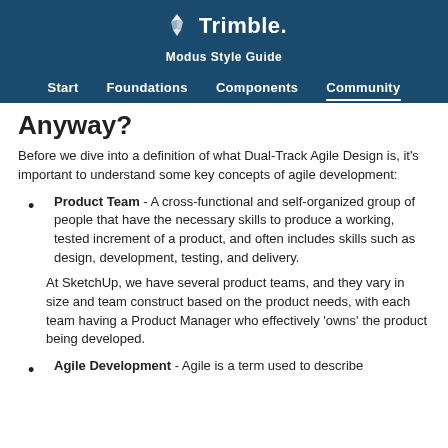Trimble Modus Style Guide — Start | Foundations | Components | Community
Anyway?
Before we dive into a definition of what Dual-Track Agile Design is, it's important to understand some key concepts of agile development:
Product Team - A cross-functional and self-organized group of people that have the necessary skills to produce a working, tested increment of a product, and often includes skills such as design, development, testing, and delivery.
At SketchUp, we have several product teams, and they vary in size and team construct based on the product needs, with each team having a Product Manager who effectively 'owns' the product being developed.
Agile Development - Agile is a term used to describe